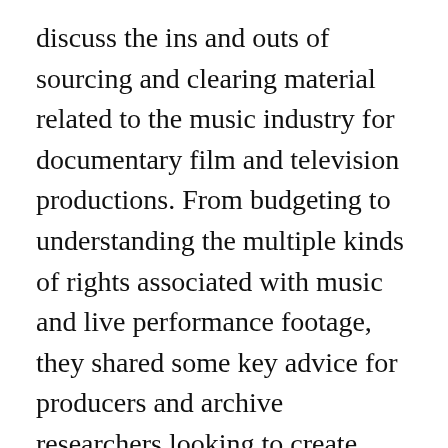discuss the ins and outs of sourcing and clearing material related to the music industry for documentary film and television productions. From budgeting to understanding the multiple kinds of rights associated with music and live performance footage, they shared some key advice for producers and archive researchers looking to create lasting works about the music, it's creators and the
[Figure (logo): Archive Valley navigation bar with hamburger menu (green lines) on left and Archive Valley logo (triangle play icon + text) centered]
[Figure (screenshot): YouTube video embed thumbnail showing Archive Valley logo, title 'Archive Research and Licensing in ...', ARCHIVE VALLEY brand text, red YouTube play button, and partial text 'GLOBAL [NET]WORKS' at bottom, all on black background]